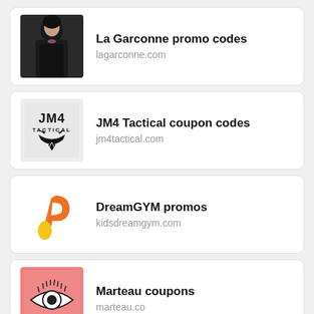[Figure (logo): La Garconne fashion store logo - woman in dark coat]
La Garconne promo codes
lagarconne.com
[Figure (logo): JM4 Tactical logo - black tactical emblem with eagle]
JM4 Tactical coupon codes
jm4tactical.com
[Figure (logo): DreamGYM logo - orange and yellow swirl P shape]
DreamGYM promos
kidsdreamgym.com
[Figure (logo): Marteau logo - eye with lashes on pink background]
Marteau coupons
marteau.co